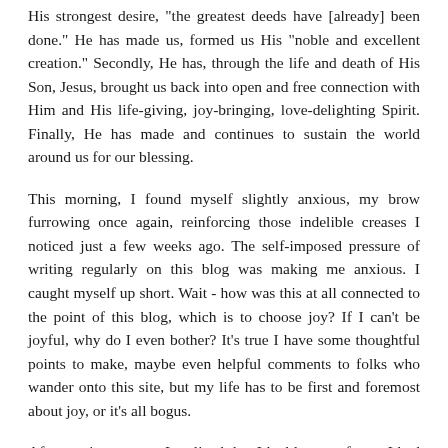His strongest desire, "the greatest deeds have [already] been done." He has made us, formed us His "noble and excellent creation." Secondly, He has, through the life and death of His Son, Jesus, brought us back into open and free connection with Him and His life-giving, joy-bringing, love-delighting Spirit. Finally, He has made and continues to sustain the world around us for our blessing.
This morning, I found myself slightly anxious, my brow furrowing once again, reinforcing those indelible creases I noticed just a few weeks ago. The self-imposed pressure of writing regularly on this blog was making me anxious. I caught myself up short. Wait - how was this at all connected to the point of this blog, which is to choose joy? If I can't be joyful, why do I even bother? It's true I have some thoughtful points to make, maybe even helpful comments to folks who wander onto this site, but my life has to be first and foremost about joy, or it's all bogus.
After a minute or so, I realized that I had lost my focus. I had forgotten to begin the day with gratitude. God has given me so many good gifts. As Julian mentions, the gift of life, of his love, of his provision. He's also given me desires, planted in my heart, that He wishes to fill. He